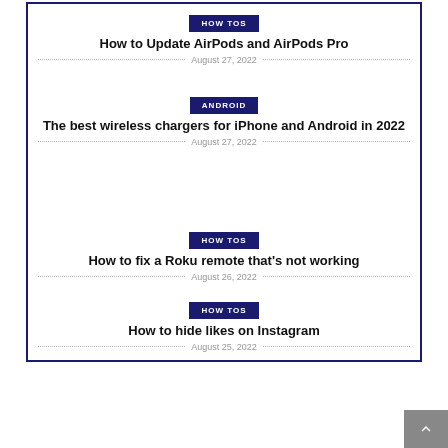HOW TOS
How to Update AirPods and AirPods Pro
August 27, 2022
ANDROID
The best wireless chargers for iPhone and Android in 2022
August 27, 2022
HOW TOS
How to fix a Roku remote that's not working
August 26, 2022
HOW TOS
How to hide likes on Instagram
August 25, 2022